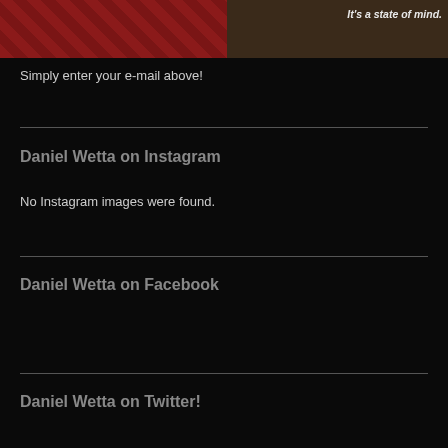[Figure (photo): Top banner image showing red fabric with yellow pattern on left and brown frame with text 'It's a state of mind.' on right]
Simply enter your e-mail above!
Daniel Wetta on Instagram
No Instagram images were found.
Daniel Wetta on Facebook
Daniel Wetta on Twitter!
My Tweets